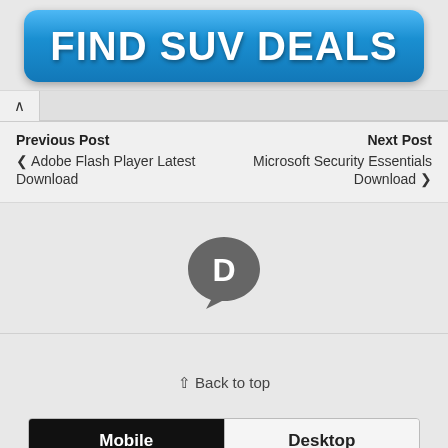[Figure (other): Blue rounded button/banner with white bold text reading FIND SUV DEALS]
^ (caret/up arrow tab)
Previous Post
< Adobe Flash Player Latest Download
Next Post
Microsoft Security Essentials Download >
[Figure (logo): Disqus logo: dark gray speech bubble with white letter D]
⇧ Back to top
Mobile   Desktop